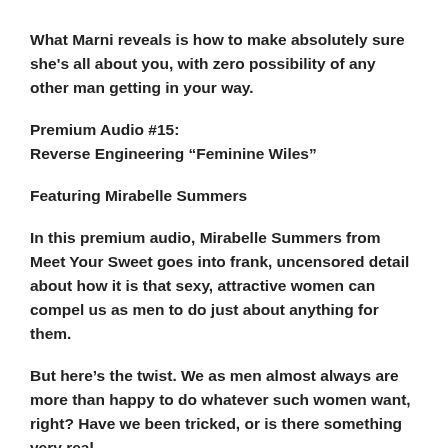What Marni reveals is how to make absolutely sure she's all about you, with zero possibility of any other man getting in your way.
Premium Audio #15:
Reverse Engineering “Feminine Wiles”
Featuring Mirabelle Summers
In this premium audio, Mirabelle Summers from Meet Your Sweet goes into frank, uncensored detail about how it is that sexy, attractive women can compel us as men to do just about anything for them.
But here’s the twist. We as men almost always are more than happy to do whatever such women want, right? Have we been tricked, or is there something very real